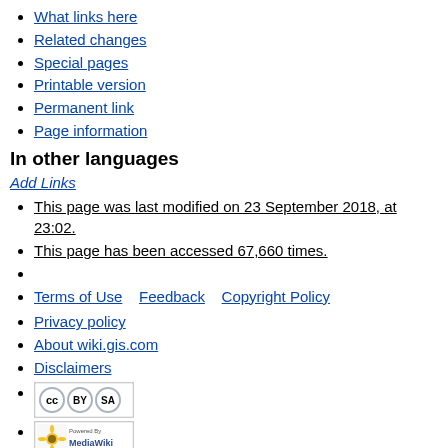What links here
Related changes
Special pages
Printable version
Permanent link
Page information
In other languages
Add Links
This page was last modified on 23 September 2018, at 23:02.
This page has been accessed 67,660 times.
Terms of Use    Feedback    Copyright Policy
Privacy policy
About wiki.gis.com
Disclaimers
[Figure (logo): Creative Commons BY-SA badge]
[Figure (logo): Powered by MediaWiki badge]